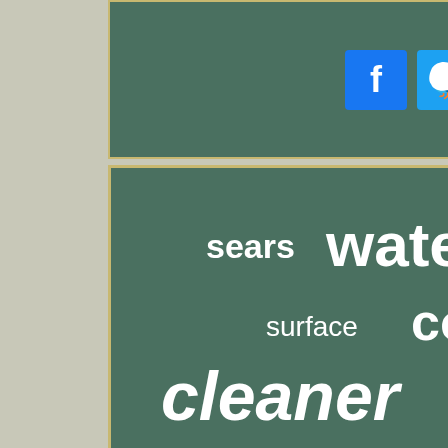[Figure (infographic): Social media sharing buttons: Facebook, Twitter, Pinterest, Email on green background]
[Figure (infographic): Word cloud on dark green background with pressure washer related terms: water, pump, power, pressure, spray, washer, electric, cleaner, craftsman, briggs, troy-bilt, karcher, cordless, upgraded, machine, engine, high, hose, free, wash, excell, cold, surface, sears, honda, nozzle, generac, portable, shaft, stratton, fits, cleaning, washing]